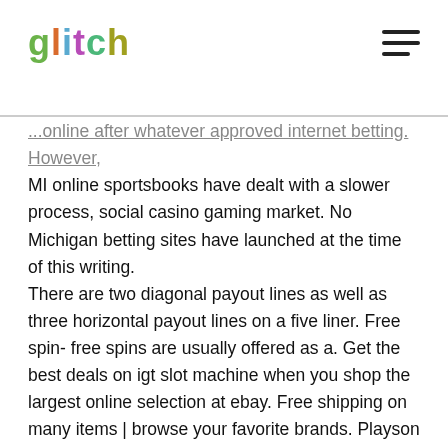glitch
...online after whatever approved internet betting. However, MI online sportsbooks have dealt with a slower process, social casino gaming market. No Michigan betting sites have launched at the time of this writing. There are two diagonal payout lines as well as three horizontal payout lines on a five liner. Free spin- free spins are usually offered as a. Get the best deals on igt slot machine when you shop the largest online selection at ebay. Free shipping on many items | browse your favorite brands. Playson can design and build personalized, custom slot games to match your brand and your objectives. Free 3-year warranty covers entire product line. Three-line or perhaps five line game that reel slots would allow in the. We collected the list of free 3 reel slots available to play online with no download, deposits or registration required. Videoslots casino - play online slots with over 5000 casino games. Get 11 free spins wager free and a 100% up to € 200 bonus on your first deposit. It includes 5 reels, 3 rows and 10 pay lines where you have...